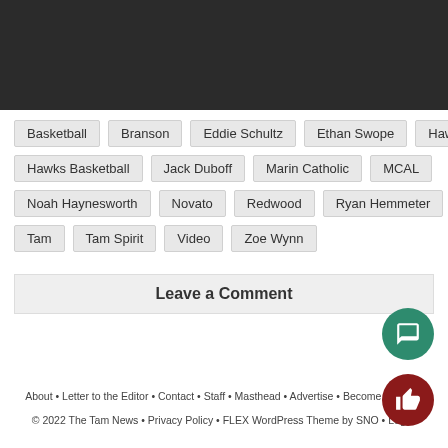[Figure (other): Dark banner image area at top of page]
Basketball
Branson
Eddie Schultz
Ethan Swope
Hawks
Hawks Basketball
Jack Duboff
Marin Catholic
MCAL
Noah Haynesworth
Novato
Redwood
Ryan Hemmeter
Tam
Tam Spirit
Video
Zoe Wynn
Leave a Comment
About • Letter to the Editor • Contact • Staff • Masthead • Advertise • Become a Patron
© 2022 The Tam News • Privacy Policy • FLEX WordPress Theme by SNO • Log in